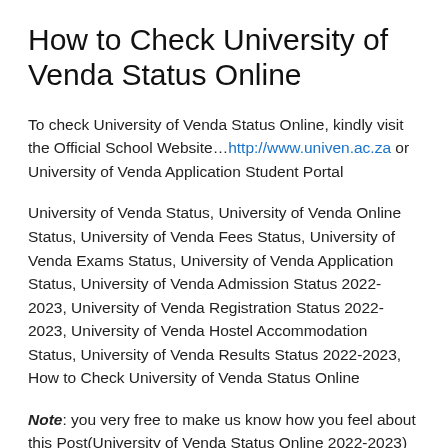How to Check University of Venda Status Online
To check University of Venda Status Online, kindly visit the Official School Website…http://www.univen.ac.za or University of Venda Application Student Portal
University of Venda Status, University of Venda Online Status, University of Venda Fees Status, University of Venda Exams Status, University of Venda Application Status, University of Venda Admission Status 2022-2023, University of Venda Registration Status 2022-2023, University of Venda Hostel Accommodation Status, University of Venda Results Status 2022-2023, How to Check University of Venda Status Online
Note: you very free to make us know how you feel about this Post(University of Venda Status Online 2022-2023) via comment box